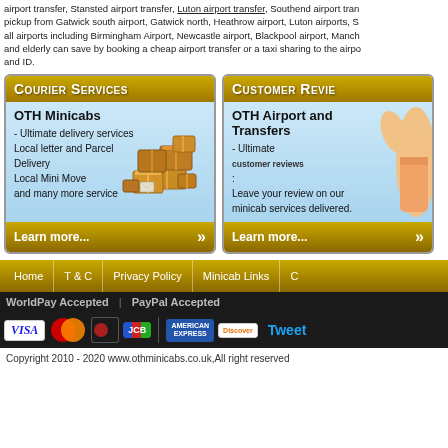airport transfer, Stansted airport transfer, Luton airport transfer, Southend airport transfer, pickup from Gatwick south airport, Gatwick north, Heathrow airport, Luton airports, S all airports including Birmingham Airport, Newcastle airport, Blackpool airport, Manch and elderly can save by booking a cheap airport transfer or a taxi sharing to the airpo and ID.
[Figure (infographic): Courier Services card with OTH Minicabs text and package/box illustration]
[Figure (infographic): Customer Reviews card with OTH Airport and Transfers text and thumbs up illustration]
Home | T & C | Privacy Policy | Minicab Links | C
WorldPay Accepted | PayPal Accepted
[Figure (infographic): Payment logos: Visa, Mastercard, JCB, American Express, Discover, Tweet button]
Copyright 2010 - 2020 www.othminicabs.co.uk,All right reserved